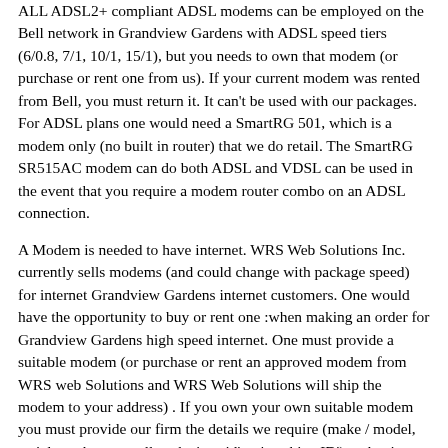ALL ADSL2+ compliant ADSL modems can be employed on the Bell network in Grandview Gardens with ADSL speed tiers (6/0.8, 7/1, 10/1, 15/1), but you needs to own that modem (or purchase or rent one from us). If your current modem was rented from Bell, you must return it. It can't be used with our packages. For ADSL plans one would need a SmartRG 501, which is a modem only (no built in router) that we do retail. The SmartRG SR515AC modem can do both ADSL and VDSL can be used in the event that you require a modem router combo on an ADSL connection.
A Modem is needed to have internet. WRS Web Solutions Inc. currently sells modems (and could change with package speed) for internet Grandview Gardens internet customers. One would have the opportunity to buy or rent one :when making an order for Grandview Gardens high speed internet. One must provide a suitable modem (or purchase or rent an approved modem from WRS web Solutions and WRS Web Solutions will ship the modem to your address) . If you own your own suitable modem you must provide our firm the details we require (make / model, serial number, as well as the 'macid' or 'machine ID') at the time you enter that Grandview Gardens internet plan order online with our website.
Grandview Gardens DSL High Speed Internet Speed Test